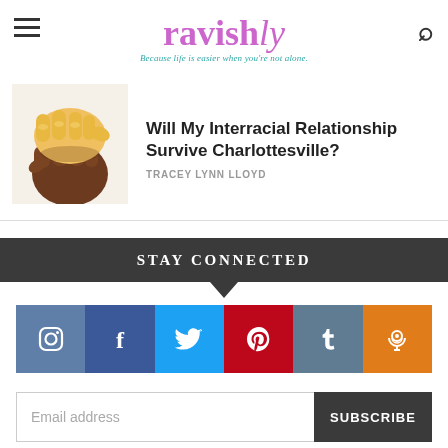ravishly — Because life is easier when you're not alone.
Will My Interracial Relationship Survive Charlottesville?
TRACEY LYNN LLOYD
STAY CONNECTED
[Figure (infographic): Six social media icon buttons in a row: Instagram (grey-blue), Facebook (dark blue), Twitter (light blue), Pinterest (red), Tumblr (grey-blue), Podcast (orange)]
Email address
SUBSCRIBE